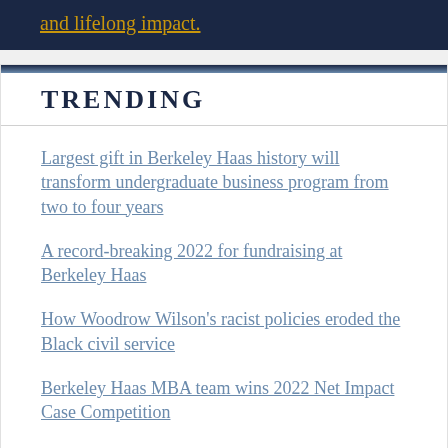and lifelong impact.
TRENDING
Largest gift in Berkeley Haas history will transform undergraduate business program from two to four years
A record-breaking 2022 for fundraising at Berkeley Haas
How Woodrow Wilson's racist policies eroded the Black civil service
Berkeley Haas MBA team wins 2022 Net Impact Case Competition
Berkeley Haas welcomes nine new professors